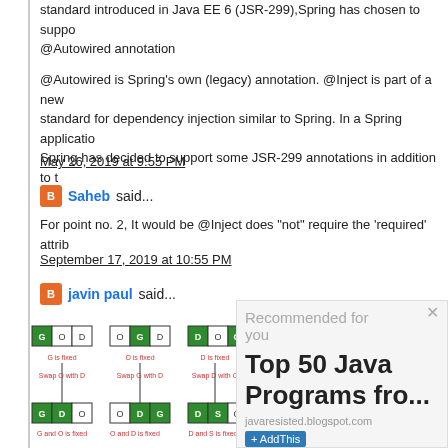standard introduced in Java EE 6 (JSR-299),Spring has chosen to support @Autowired annotation
@Autowired is Spring's own (legacy) annotation. @Inject is part of a new standard for dependency injection similar to Spring. In a Spring application, Spring has decided to support some JSR-299 annotations in addition to t
May 26, 2019 at 9:55 PM
Saheb said...
For point no. 2, It would be @Inject does "not" require the 'required' attrib
September 17, 2019 at 10:55 PM
javin paul said...
[Figure (illustration): Diagram showing three swap operation scenarios with boxes labeled G, O, D in different configurations, with arrows and labels showing 'G is fixed', 'O is fixed', 'D is fixed', 'Swap O with D', 'Swap G with D', 'Swap D with G', resulting in bottom configurations labeled 'G and O is fixed', 'O and D is fixed', 'D and S is fixed']
[Figure (infographic): Recommended for you box with close button, showing 'Top 50 Java Programs fro...' with URL javaresisted.blogspot.com and AddThis button]